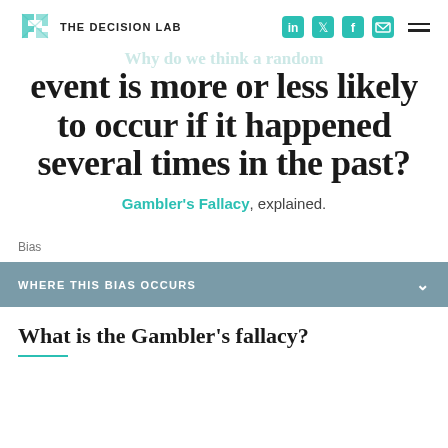THE DECISION LAB
Why do we think a random event is more or less likely to occur if it happened several times in the past?
Gambler's Fallacy, explained.
Bias
WHERE THIS BIAS OCCURS
What is the Gambler's fallacy?